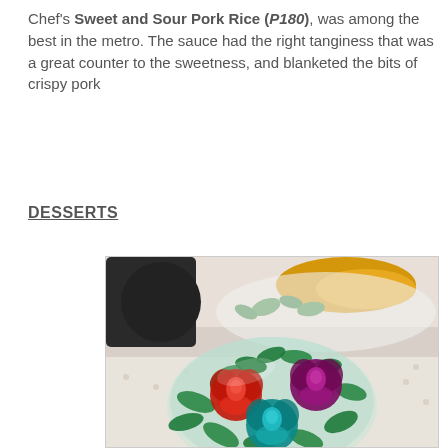Chef's Sweet and Sour Pork Rice (P180), was among the best in the metro. The sauce had the right tanginess that was a great counter to the sweetness, and blanketed the bits of crispy pork
DESSERTS
[Figure (photo): A clear jelly or gelatin dessert in a rounded bowl shaped like a dome, containing three flower-shaped decorations: a red rose on the left, a purple/magenta rose on the upper right, and a teal/blue rose at the bottom center, all surrounded by green leaf shapes embedded in the clear jelly. The background shows another dish with food on a white plate with a dotted tablecloth.]